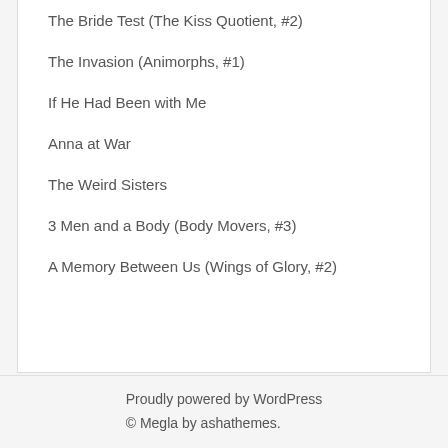The Bride Test (The Kiss Quotient, #2)
The Invasion (Animorphs, #1)
If He Had Been with Me
Anna at War
The Weird Sisters
3 Men and a Body (Body Movers, #3)
A Memory Between Us (Wings of Glory, #2)
Proudly powered by WordPress
© Megla by ashathemes.